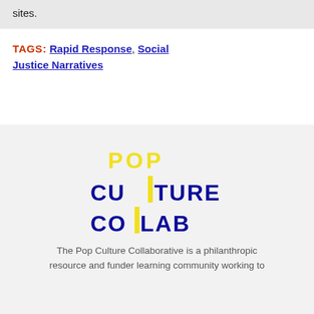sites.
TAGS: Rapid Response, Social Justice Narratives
[Figure (logo): Pop Culture Collaborative logo with yellow and dark blue text arranged in three lines: 'POP' in yellow, 'CULTURE' in dark blue, 'COLLAB' in dark blue, with a vertical yellow bar separating CU|TURE and CO|LAB]
The Pop Culture Collaborative is a philanthropic resource and funder learning community working to